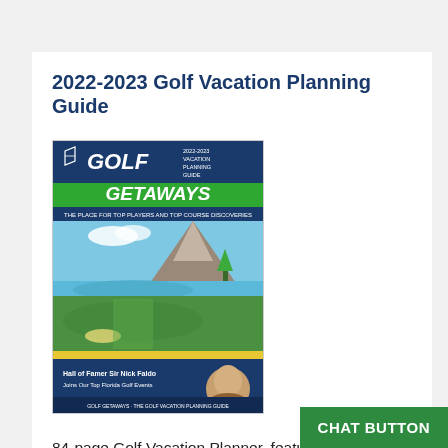2022-2023 Golf Vacation Planning Guide
[Figure (illustration): Magazine cover for 2022-2023 Golf Vacation Planning Guide — Golf Getaways, showing a golf course scene with mountains, water, and green fairways.]
84-page Golf Vacation Planner, featuring our Top Golf Travel Destinations including Florida, Arizona, Las Vegas, Hilton Head, Palm Springs, Myrtle Beach.
View Online
Download PDF